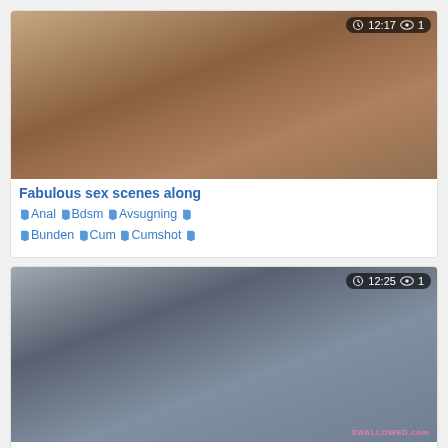[Figure (photo): Thumbnail image for video 1 with duration badge 12:17 and view count 1]
Fabulous sex scenes along
Anal  Bdsm  Avsugning  Bunden  Cum  Cumshot
[Figure (photo): Thumbnail image for video 2 with duration badge 12:25 and view count 1, SWALLOWED.com watermark]
Huge Cock gobbling queen
Anal  Avsugning  Cum  Cumshot  Söt  Böğ